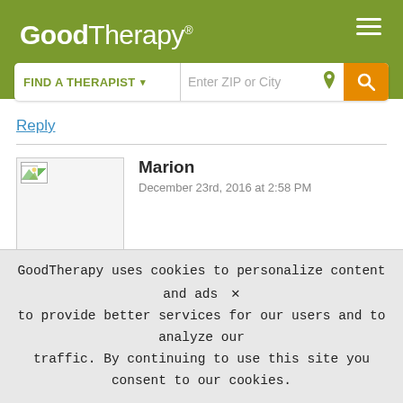GoodTherapy®
[Figure (screenshot): GoodTherapy website header with logo, hamburger menu icon, and a search bar with 'FIND A THERAPIST' dropdown and 'Enter ZIP or City' input field with orange search button]
Reply
Marion
December 23rd, 2016 at 2:58 PM
Are things any better this year? Sorry no one made suggestions last year.... I wondered if exploring (with her) the feelings she may have could reassure her??
GoodTherapy uses cookies to personalize content and ads to provide better services for our users and to analyze our traffic. By continuing to use this site you consent to our cookies.